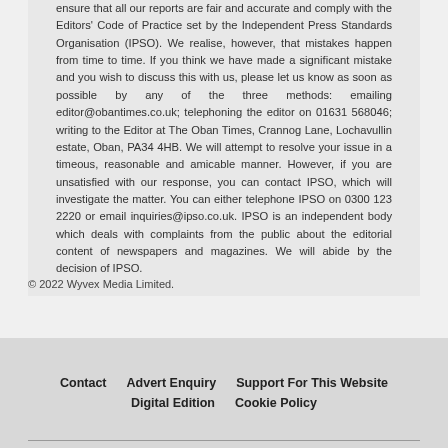ensure that all our reports are fair and accurate and comply with the Editors' Code of Practice set by the Independent Press Standards Organisation (IPSO). We realise, however, that mistakes happen from time to time. If you think we have made a significant mistake and you wish to discuss this with us, please let us know as soon as possible by any of the three methods: emailing editor@obantimes.co.uk; telephoning the editor on 01631 568046; writing to the Editor at The Oban Times, Crannog Lane, Lochavullin estate, Oban, PA34 4HB. We will attempt to resolve your issue in a timeous, reasonable and amicable manner. However, if you are unsatisfied with our response, you can contact IPSO, which will investigate the matter. You can either telephone IPSO on 0300 123 2220 or email inquiries@ipso.co.uk. IPSO is an independent body which deals with complaints from the public about the editorial content of newspapers and magazines. We will abide by the decision of IPSO.
© 2022 Wyvex Media Limited.
Contact   Advert Enquiry   Support For This Website   Digital Edition   Cookie Policy